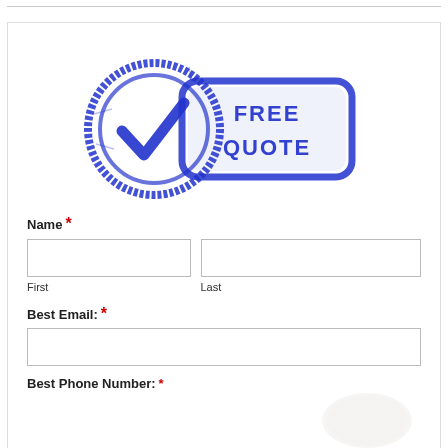[Figure (illustration): Blue rubber stamp graphic with a checkmark circle on the left and 'FREE QUOTE' text in bold blue letters inside a rounded rectangle, distressed/grunge style]
Name *
First
Last
Best Email: *
Best Phone Number: *